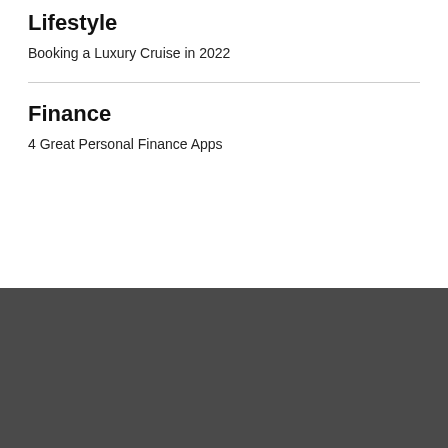Lifestyle
Booking a Luxury Cruise in 2022
Finance
4 Great Personal Finance Apps